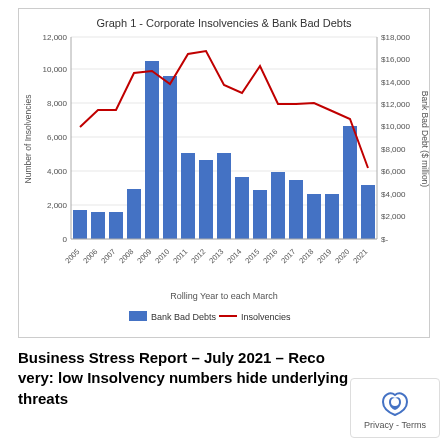[Figure (grouped-bar-chart): Graph 1 - Corporate Insolvencies & Bank Bad Debts]
Business Stress Report – July 2021 – Recovery: low Insolvency numbers hide underlying threats